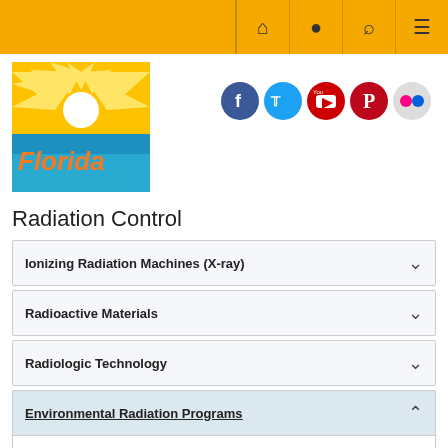[Figure (screenshot): Florida Department of Health website navigation bar with golden/amber background and icons for home, location, search, and menu]
[Figure (logo): Florida Health logo with sun rays, white circle, blue/teal horizon and orange Florida Health text]
[Figure (infographic): Social media icons: Facebook, Twitter, YouTube, Pinterest, Flickr]
Radiation Control
Ionizing Radiation Machines (X-ray)
Radioactive Materials
Radiologic Technology
Environmental Radiation Programs
Chapter 64E-5, FAC